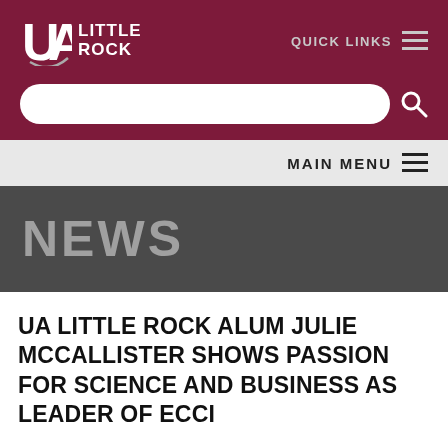UA LITTLE ROCK
QUICK LINKS
MAIN MENU
NEWS
UA LITTLE ROCK ALUM JULIE MCCALLISTER SHOWS PASSION FOR SCIENCE AND BUSINESS AS LEADER OF ECCI